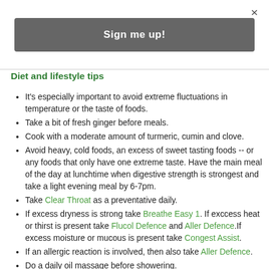×
Sign me up!
Diet and lifestyle tips
It's especially important to avoid extreme fluctuations in temperature or the taste of foods.
Take a bit of fresh ginger before meals.
Cook with a moderate amount of turmeric, cumin and clove.
Avoid heavy, cold foods, an excess of sweet tasting foods -- or any foods that only have one extreme taste. Have the main meal of the day at lunchtime when digestive strength is strongest and take a light evening meal by 6-7pm.
Take Clear Throat as a preventative daily.
If excess dryness is strong take Breathe Easy 1. If exccess heat or thirst is present take Flucol Defence and Aller Defence.If excess moisture or mucous is present take Congest Assist.
If an allergic reaction is involved, then also take Aller Defence.
Do a daily oil massage before showering.